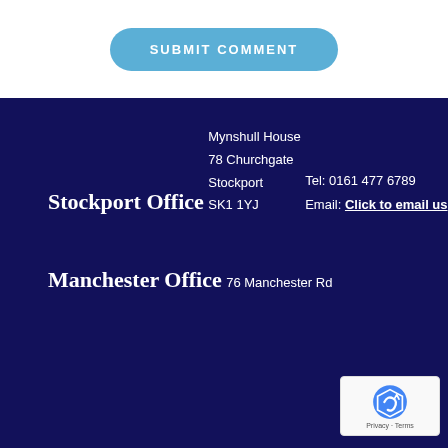SUBMIT COMMENT
Stockport Office
Mynshull House
78 Churchgate
Stockport
SK1 1YJ
Tel: 0161 477 6789
Email: Click to email us
Manchester Office
76 Manchester Rd